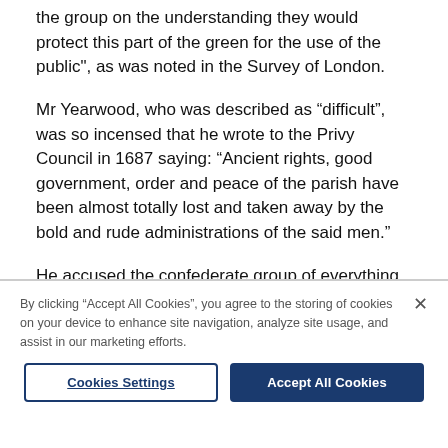the group on the understanding they would protect this part of the green for the use of the public", as was noted in the Survey of London.
Mr Yearwood, who was described as “difficult”, was so incensed that he wrote to the Privy Council in 1687 saying: “Ancient rights, good government, order and peace of the parish have been almost totally lost and taken away by the bold and rude administrations of the said men.”
He accused the confederate group of everything from manipulating the court system to physically attacking him.
By clicking “Accept All Cookies”, you agree to the storing of cookies on your device to enhance site navigation, analyze site usage, and assist in our marketing efforts.